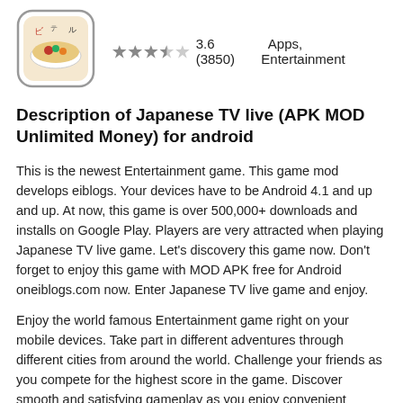[Figure (screenshot): App icon showing a Japanese TV themed illustration with Japanese characters, food and decorative elements, rendered in a rounded rectangle frame.]
★★★½ 3.6 (3850)  Apps, Entertainment
Description of Japanese TV live (APK MOD Unlimited Money) for android
This is the newest Entertainment game. This game mod develops eiblogs. Your devices have to be Android 4.1 and up and up. At now, this game is over 500,000+ downloads and installs on Google Play. Players are very attracted when playing Japanese TV live game. Let's discovery this game now. Don't forget to enjoy this game with MOD APK free for Android oneiblogs.com now. Enter Japanese TV live game and enjoy.
Enjoy the world famous Entertainment game right on your mobile devices. Take part in different adventures through different cities from around the world. Challenge your friends as you compete for the highest score in the game. Discover smooth and satisfying gameplay as you enjoy convenient features and controls. Find out all you need to know about this amazing game.